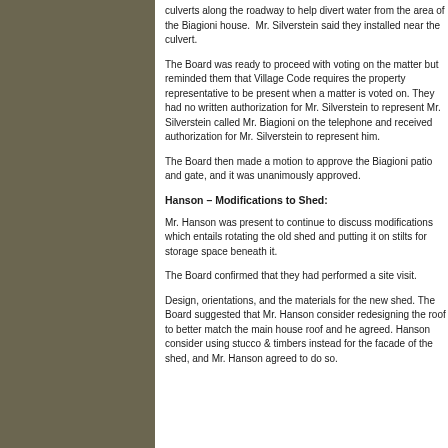culverts along the roadway to help divert water from the area of the Biagioni house. Mr. Silverstein said they installed near the culvert.
The Board was ready to proceed with voting on the matter but reminded them that Village Code requires the property representative to be present when a matter is voted on. They had no written authorization for Mr. Silverstein to represent. Silverstein called Mr. Biagioni on the telephone and received authorization for Mr. Silverstein to represent him.
The Board then made a motion to approve the Biagioni patio and gate, and it was unanimously approved.
Hanson – Modifications to Shed:
Mr. Hanson was present to continue to discuss modifications which entails rotating the old shed and putting it on stilts for storage space beneath it.
The Board confirmed that they had performed a site visit.
Design, orientations, and the materials for the new shed. The Board suggested that Mr. Hanson consider redesigning the roof to better match the main house roof and he agreed. They suggested Mr. Hanson consider using stucco & timbers instead for the facade of the shed, and Mr. Hanson agreed to do so.